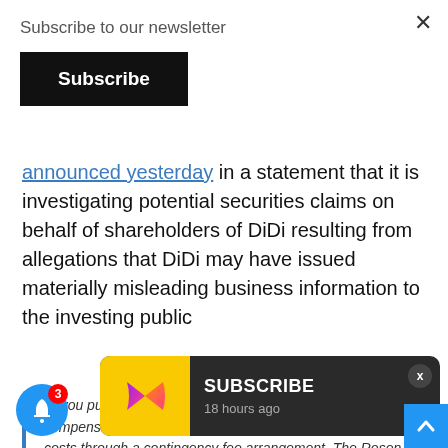Subscribe to our newsletter
Subscribe
announced yesterday in a statement that it is investigating potential securities claims on behalf of shareholders of DiDi resulting from allegations that DiDi may have issued materially misleading business information to the investing public
“If you purchased DiDi securities you may be entitled to compensation without payment of any out of pocket fees or costs through a contingency fee arrangement. The Rosen Law firm is
SUBSCRIBE
18 hours ago